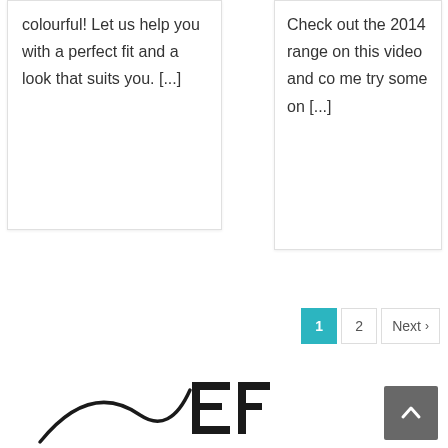colourful! Let us help you with a perfect fit and a look that suits you. [...]
Check out the 2014 range on this video and come try some on [...]
1 (active), 2, Next >
[Figure (logo): Partial logo with stylized S-curve and block letter E/F marks]
[Figure (other): Scroll-to-top button with upward chevron arrow]